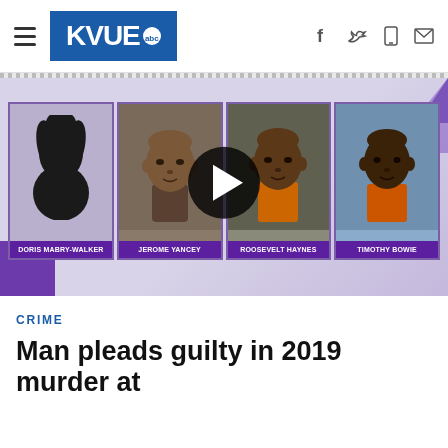KVUE abc
[Figure (screenshot): Video thumbnail showing four suspects: Doris Mabry-Walker (silhouette), Jerome Yancey, Roosevelt Haynes, Timothy Bowie, with play button overlay on a purple-toned background]
CRIME
Man pleads guilty in 2019 murder at